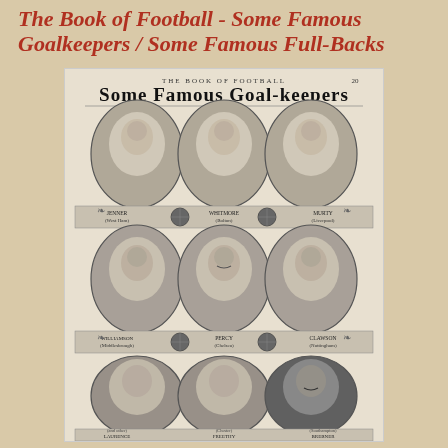The Book of Football - Some Famous Goalkeepers / Some Famous Full-Backs
[Figure (photo): A vintage black and white page from 'The Book of Football' showing nine portrait photographs of famous goalkeepers arranged in a 3x3 grid with decorative Victorian-era borders and captions beneath each portrait.]